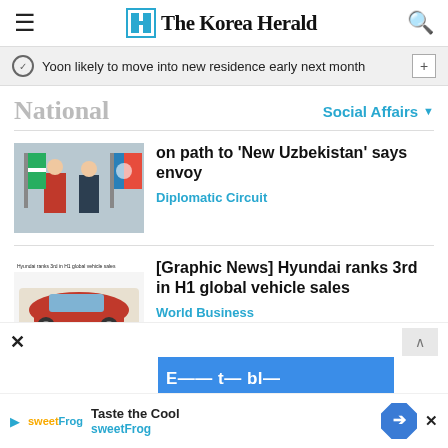The Korea Herald
Yoon likely to move into new residence early next month
National
Social Affairs
on path to 'New Uzbekistan' says envoy
Diplomatic Circuit
[Graphic News] Hyundai ranks 3rd in H1 global vehicle sales
World Business
Taste the Cool sweetFrog